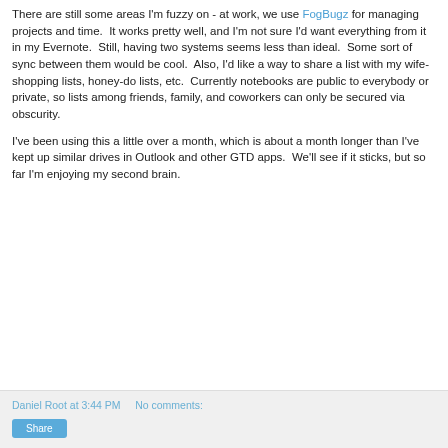There are still some areas I'm fuzzy on - at work, we use FogBugz for managing projects and time.  It works pretty well, and I'm not sure I'd want everything from it in my Evernote.  Still, having two systems seems less than ideal.  Some sort of sync between them would be cool.  Also, I'd like a way to share a list with my wife- shopping lists, honey-do lists, etc.  Currently notebooks are public to everybody or private, so lists among friends, family, and coworkers can only be secured via obscurity.
I've been using this a little over a month, which is about a month longer than I've kept up similar drives in Outlook and other GTD apps.  We'll see if it sticks, but so far I'm enjoying my second brain.
Daniel Root at 3:44 PM    No comments:   Share